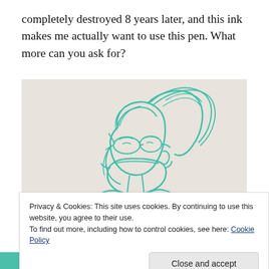completely destroyed 8 years later, and this ink makes me actually want to use this pen. What more can you ask for?
[Figure (illustration): Teal/turquoise ink sketch of a person with glasses wearing a face mask, with hair up in a ponytail, drawn in loose gestural lines on light paper background.]
Privacy & Cookies: This site uses cookies. By continuing to use this website, you agree to their use.
To find out more, including how to control cookies, see here: Cookie Policy
Close and accept